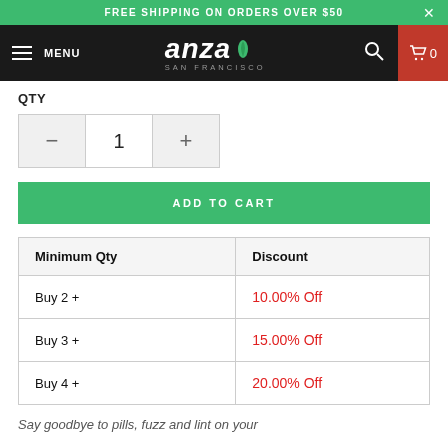FREE SHIPPING ON ORDERS OVER $50
[Figure (screenshot): Anza San Francisco navigation bar with hamburger menu, logo, search icon, and cart button]
QTY
[Figure (other): Quantity selector control with minus button, value 1, and plus button]
ADD TO CART
| Minimum Qty | Discount |
| --- | --- |
| Buy 2 + | 10.00% Off |
| Buy 3 + | 15.00% Off |
| Buy 4 + | 20.00% Off |
Say goodbye to pills, fuzz and lint on your